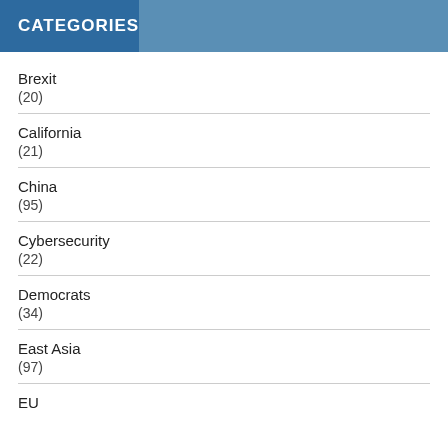CATEGORIES
Brexit
(20)
California
(21)
China
(95)
Cybersecurity
(22)
Democrats
(34)
East Asia
(97)
EU